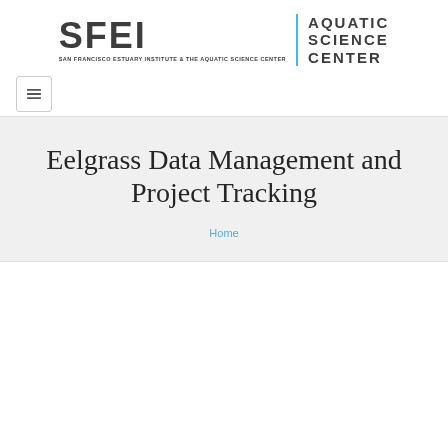[Figure (logo): SFEI Aquatic Science Center logo — stylized text 'SFEI' with vertical cyan divider and 'AQUATIC SCIENCE CENTER' text, subtitle 'SAN FRANCISCO ESTUARY INSTITUTE & THE AQUATIC SCIENCE CENTER']
[Figure (other): Hamburger menu button — square button with three horizontal lines icon]
Eelgrass Data Management and Project Tracking
Home